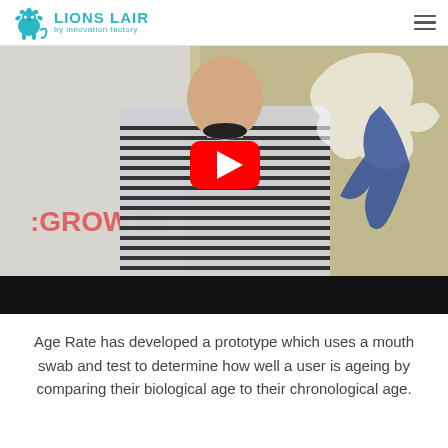LIONS LAIR by innovation factory
[Figure (screenshot): YouTube video thumbnail showing a man in a striped shirt standing in front of a whiteboard with text ':GROWTH', with a red YouTube play button overlay. Background shows a gold and white lion logo.]
Age Rate has developed a prototype which uses a mouth swab and test to determine how well a user is ageing by comparing their biological age to their chronological age.